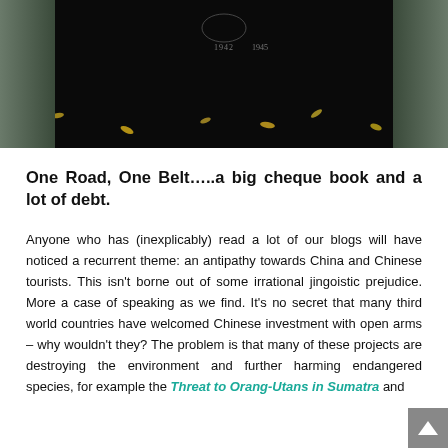[Figure (photo): A dark granite memorial or commemorative stone with dates 1942 and 1945, surrounded by fallen leaves on the ground, photographed from above.]
One Road, One Belt…..a big cheque book and a lot of debt.
Anyone who has (inexplicably) read a lot of our blogs will have noticed a recurrent theme: an antipathy towards China and Chinese tourists. This isn't borne out of some irrational jingoistic prejudice. More a case of speaking as we find. It's no secret that many third world countries have welcomed Chinese investment with open arms – why wouldn't they? The problem is that many of these projects are destroying the environment and further harming endangered species, for example the Threat to Orang-Utans in Sumatra and